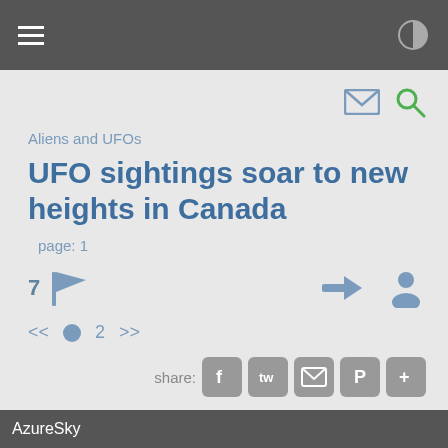Navigation bar with hamburger menu and contrast icon
Aliens and UFOs
UFO sightings soar to new heights in Canada
page: 1
7 flags / actions
Pagination: << • 2 >>
share: Facebook, Twitter, Email, Pinterest, More
AzureSky